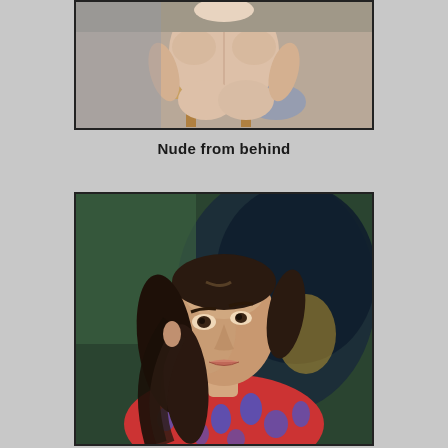[Figure (illustration): Painting of a nude figure seen from behind, seated on a wooden chair/stool, upper body visible, a cloth nearby, neutral background.]
Nude from behind
[Figure (illustration): Portrait painting of a young woman with long dark hair pulled back, wearing a red top with blue abstract pattern, looking slightly to the side, against a dark green and blue background.]